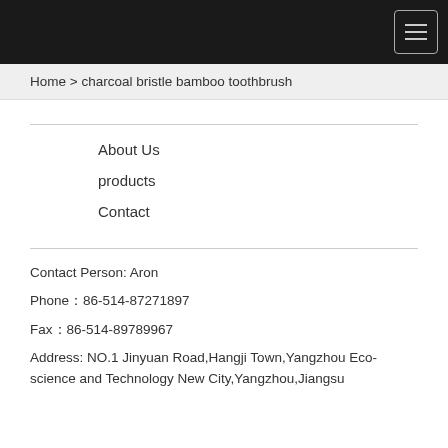Home > charcoal bristle bamboo toothbrush
About Us
products
Contact
Contact Person: Aron
Phone：86-514-87271897
Fax：86-514-89789967
Address: NO.1 Jinyuan Road,Hangji Town,Yangzhou Eco-science and Technology New City,Yangzhou,Jiangsu